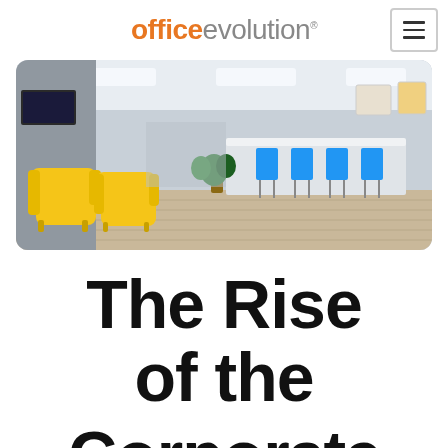[Figure (logo): Office Evolution logo with orange bold 'office' and gray 'evolution' text with trademark symbol]
[Figure (photo): Modern coworking office interior with yellow lounge chairs in foreground, blue bar stools at a white counter, wood floors, and bright ceiling lights]
The Rise of the Corporate